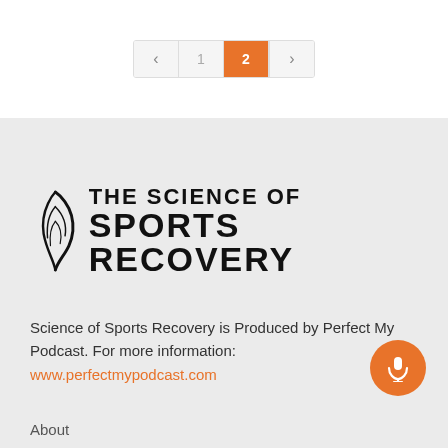< 1 2 >
[Figure (logo): The Science of Sports Recovery logo with stylized feather/leaf icon and bold uppercase text]
Science of Sports Recovery is Produced by Perfect My Podcast. For more information: www.perfectmypodcast.com
About